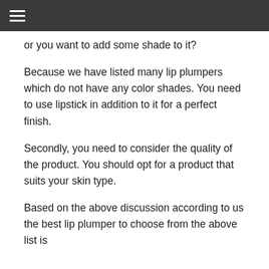☰
or you want to add some shade to it?
Because we have listed many lip plumpers which do not have any color shades. You need to use lipstick in addition to it for a perfect finish.
Secondly, you need to consider the quality of the product. You should opt for a product that suits your skin type.
Based on the above discussion according to us the best lip plumper to choose from the above list is...